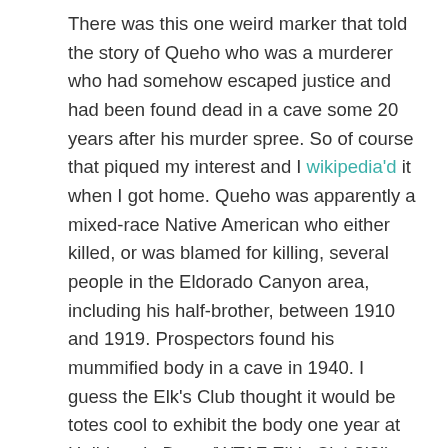There was this one weird marker that told the story of Queho who was a murderer who had somehow escaped justice and had been found dead in a cave some 20 years after his murder spree. So of course that piqued my interest and I wikipedia'd it when I got home. Queho was apparently a mixed-race Native American who either killed, or was blamed for killing, several people in the Eldorado Canyon area, including his half-brother, between 1910 and 1919. Prospectors found his mummified body in a cave in 1940. I guess the Elk's Club thought it would be totes cool to exhibit the body one year at Helldorado Days (WTAF Elk's Club?!?!), but the District Attorney at the time managed to get hold of the remains and give them a proper burial. Here's a pic of the marker that tells a little bit of the story. Which is interesting for another reason that I'll get into in a sec.